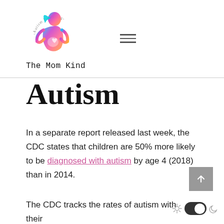-Autism Parenting- logo with The Mom Kind site name and hamburger menu
Autism
In a separate report released last week, the CDC states that children are 50% more likely to be diagnosed with autism by age 4 (2018) than in 2014.
The CDC tracks the rates of autism with their Autism and Developmental Disabilities